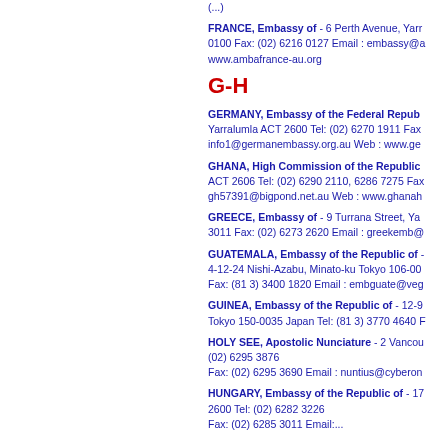(...)
FRANCE, Embassy of - 6 Perth Avenue, Yarr... 0100 Fax: (02) 6216 0127 Email : embassy@a... www.ambafrance-au.org
G-H
GERMANY, Embassy of the Federal Repub... Yarralumla ACT 2600 Tel: (02) 6270 1911 Fax... info1@germanembassy.org.au Web : www.ge...
GHANA, High Commission of the Republic... ACT 2606 Tel: (02) 6290 2110, 6286 7275 Fax... gh57391@bigpond.net.au Web : www.ghanah...
GREECE, Embassy of - 9 Turrana Street, Ya... 3011 Fax: (02) 6273 2620 Email : greekemb@...
GUATEMALA, Embassy of the Republic of -... 4-12-24 Nishi-Azabu, Minato-ku Tokyo 106-00... Fax: (81 3) 3400 1820 Email : embguate@veg...
GUINEA, Embassy of the Republic of - 12-9... Tokyo 150-0035 Japan Tel: (81 3) 3770 4640 F...
HOLY SEE, Apostolic Nunciature - 2 Vancou... (02) 6295 3876 Fax: (02) 6295 3690 Email : nuntius@cyberon...
HUNGARY, Embassy of the Republic of - 17... 2600 Tel: (02) 6282 3226 Fax: (02) 6285 3011 Email:...